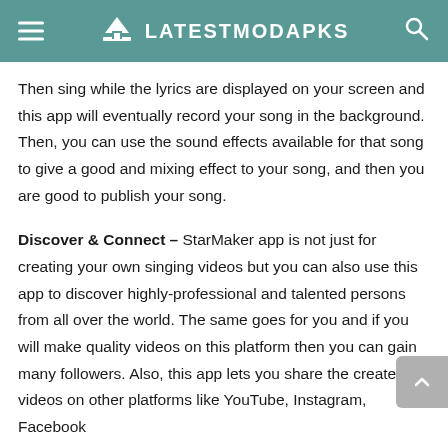≡   LATESTMODAPKS   🔍
Then sing while the lyrics are displayed on your screen and this app will eventually record your song in the background. Then, you can use the sound effects available for that song to give a good and mixing effect to your song, and then you are good to publish your song.
Discover & Connect – StarMaker app is not just for creating your own singing videos but you can also use this app to discover highly-professional and talented persons from all over the world. The same goes for you and if you will make quality videos on this platform then you can gain many followers. Also, this app lets you share the created videos on other platforms like YouTube, Instagram, Facebook